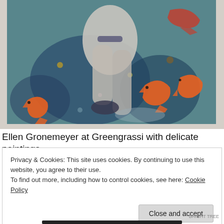[Figure (photo): Close-up photograph of a painting showing pale legs/figure with orange shrimp/crustaceans on a blue-green background with colorful textured paint.]
Ellen Gronemeyer at Greengrassi with delicate paintings.
Privacy & Cookies: This site uses cookies. By continuing to use this website, you agree to their use.
To find out more, including how to control cookies, see here: Cookie Policy
Close and accept